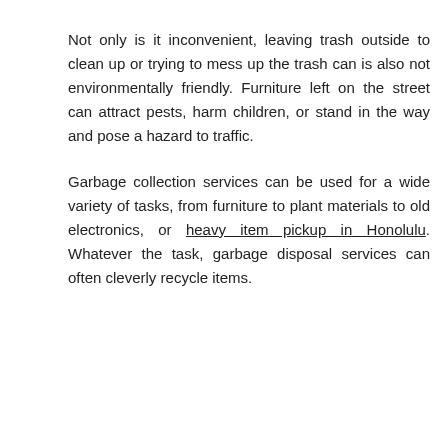Not only is it inconvenient, leaving trash outside to clean up or trying to mess up the trash can is also not environmentally friendly. Furniture left on the street can attract pests, harm children, or stand in the way and pose a hazard to traffic.
Garbage collection services can be used for a wide variety of tasks, from furniture to plant materials to old electronics, or heavy item pickup in Honolulu. Whatever the task, garbage disposal services can often cleverly recycle items.
[Figure (other): Social media share buttons: Facebook (blue circle with f), Google+ (red circle with g+), Twitter (blue circle with bird icon), Add/Plus (dark circle with + sign)]